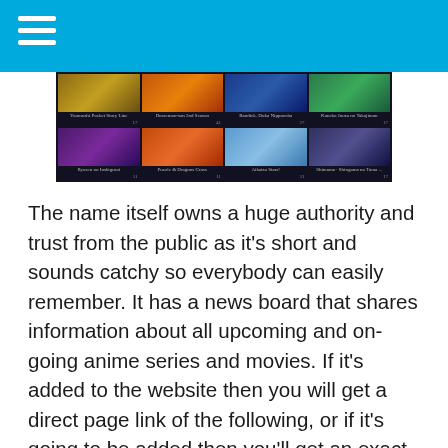[Figure (screenshot): Screenshot of an anime streaming website showing a grid of anime thumbnails with titles including Youmushi Pocket Stary Line, Doraemon 2nd Season, Bandick Duka Nipponcha, Kaneko Jousa no Takajiman in top row, and Ryusen no Inshigurai, Puzzle & Dragons Cross, Aikatsu Stars!, Shimama Shingama no Tama in bottom row.]
The name itself owns a huge authority and trust from the public as it's short and sounds catchy so everybody can easily remember. It has a news board that shares information about all upcoming and on-going anime series and movies. If it's added to the website then you will get a direct page link of the following, or if it's going to be added then you'll get an exact date for the release.
Ani.me does have a personal forum for the members who are interested to be a part of the discussion and share their experience with your demand for the series which isn't available on the website.